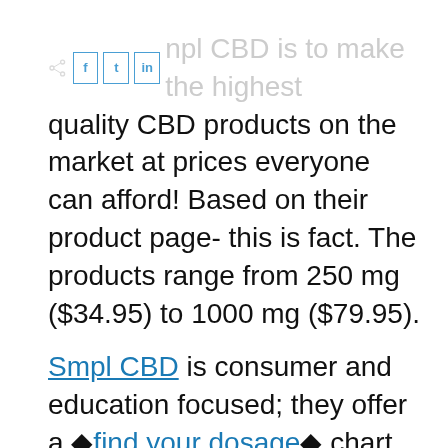The mission of Smpl CBD is to make the highest quality CBD products on the market at prices everyone can afford! Based on their product page- this is fact. The products range from 250 mg ($34.95) to 1000 mg ($79.95).
Smpl CBD is consumer and education focused; they offer a 'find your dosage' chart geared toward helping customers nail down their dosage.
Guaranteed quality is the promise that Smpl CBD makes to consumers. The company manufactures its CBD products in Moravian Falls, North Carolina. The facility is 35,000